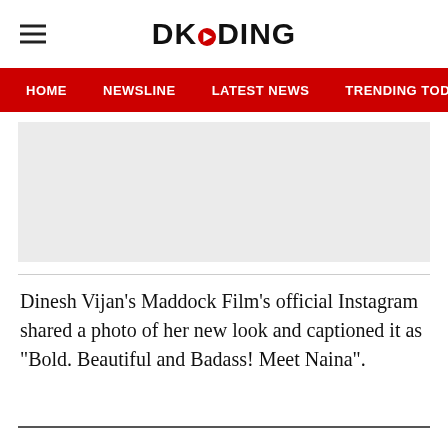DKODING
HOME  NEWSLINE  LATEST NEWS  TRENDING TODAY  ENT
[Figure (other): Gray advertisement placeholder block]
Dinesh Vijan’s Maddock Film’s official Instagram shared a photo of her new look and captioned it as “Bold. Beautiful and Badass! Meet Naina”.